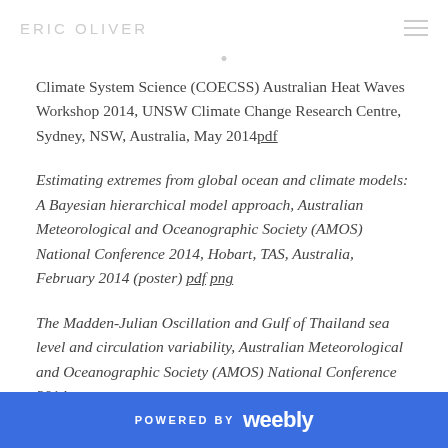ERIC OLIVER
Climate System Science (COECSS) Australian Heat Waves Workshop 2014, UNSW Climate Change Research Centre, Sydney, NSW, Australia, May 2014 pdf
Estimating extremes from global ocean and climate models: A Bayesian hierarchical model approach, Australian Meteorological and Oceanographic Society (AMOS) National Conference 2014, Hobart, TAS, Australia, February 2014 (poster) pdf png
The Madden-Julian Oscillation and Gulf of Thailand sea level and circulation variability, Australian Meteorological and Oceanographic Society (AMOS) National Conference 2014,
POWERED BY weebly